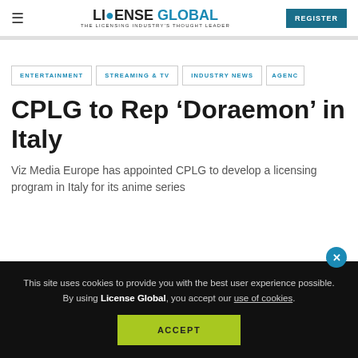LICENSE GLOBAL — THE LICENSING INDUSTRY'S THOUGHT LEADER | REGISTER
ENTERTAINMENT
STREAMING & TV
INDUSTRY NEWS
AGENC…
CPLG to Rep 'Doraemon' in Italy
Viz Media Europe has appointed CPLG to develop a licensing program in Italy for its anime series
This site uses cookies to provide you with the best user experience possible. By using License Global, you accept our use of cookies.